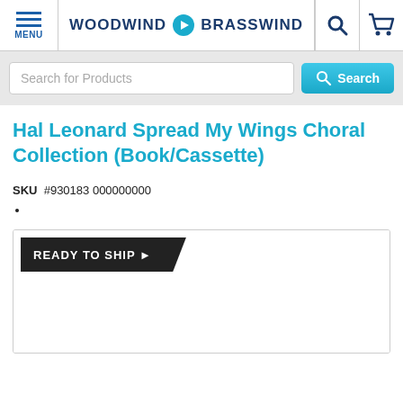MENU | WOODWIND & BRASSWIND | [search icon] | [cart icon]
Search for Products
Hal Leonard Spread My Wings Choral Collection (Book/Cassette)
SKU  #930183 000000000
READY TO SHIP ▶